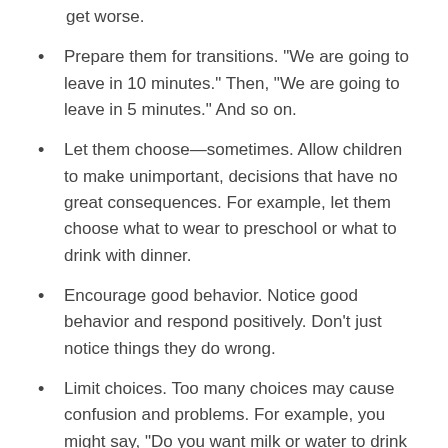get worse.
Prepare them for transitions. "We are going to leave in 10 minutes." Then, "We are going to leave in 5 minutes." And so on.
Let them choose—sometimes. Allow children to make unimportant, decisions that have no great consequences. For example, let them choose what to wear to preschool or what to drink with dinner.
Encourage good behavior. Notice good behavior and respond positively. Don't just notice things they do wrong.
Limit choices. Too many choices may cause confusion and problems. For example, you might say, "Do you want milk or water to drink for